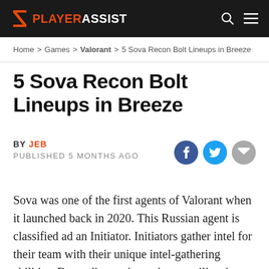PLAYERASSIST
Home > Games > Valorant > 5 Sova Recon Bolt Lineups in Breeze
5 Sova Recon Bolt Lineups in Breeze
BY JEB
PUBLISHED 5 MONTHS AGO
Sova was one of the first agents of Valorant when it launched back in 2020. This Russian agent is classified ad an Initiator. Initiators gather intel for their team with their unique intel-gathering abilities. Depending on how players utilize these abilities, the potential